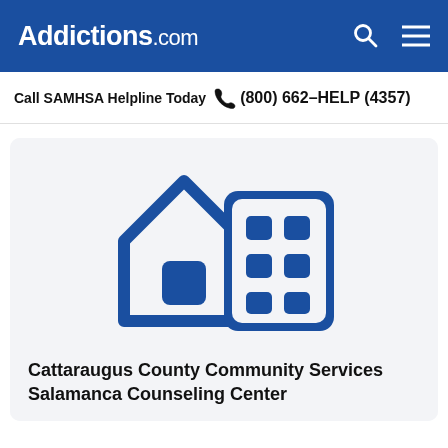Addictions.com
Call SAMHSA Helpline Today  (800) 662-HELP (4357)
[Figure (illustration): Icon of a house and office building in dark blue outline style on a light gray background, representing a community services/counseling center facility.]
Cattaraugus County Community Services Salamanca Counseling Center